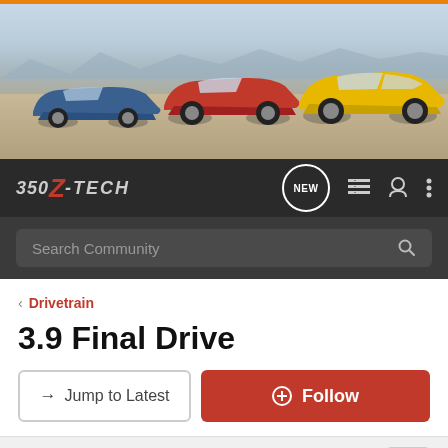[Figure (photo): Hero banner showing three Nissan 350Z/370Z sports cars (blue, red, yellow) parked on a desert/salt flat background]
350Z-TECH (navigation bar with NEW, list, user, and menu icons)
Search Community
< Drivetrain
3.9 Final Drive
→ Jump to Latest
+ Follow
1 - 20 of 36 Posts
1 of 2 ▶
toykilla · Registered